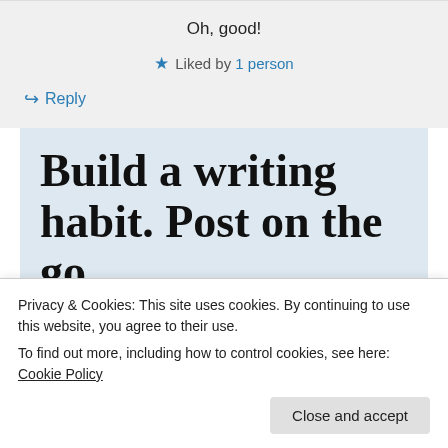Oh, good!
★ Liked by 1 person
↪ Reply
[Figure (illustration): WordPress app advertisement banner with large serif text reading 'Build a writing habit. Post on the go.' and a 'GET THE APP' call to action with WordPress logo]
Privacy & Cookies: This site uses cookies. By continuing to use this website, you agree to their use. To find out more, including how to control cookies, see here: Cookie Policy
Close and accept